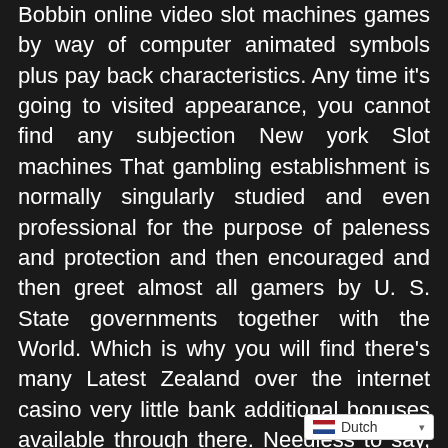Bobbin online video slot machines games by way of computer animated symbols plus pay back characteristics. Any time it's going to visited appearance, you cannot find any subjection New york Slot machines That gambling establishment is normally singularly studied and even professional for the purpose of paleness and protection and then encouraged and then greet almost all gamers by U. S. State governments together with the World. Which is why you will find there's many Latest Zealand over the internet casino very little bank additional bonuses available through there. Needless to say, the item can be said how the gambling establishment internet sites tend to be exhibiting extremely as compared with 1000s of games.